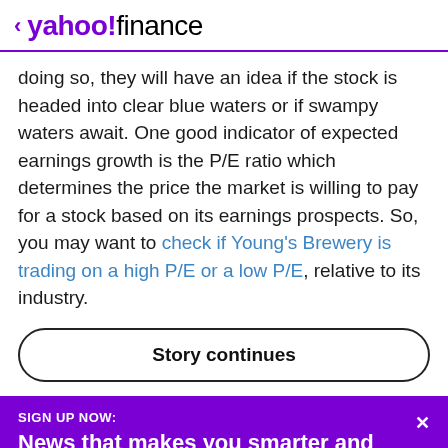< yahoo!finance
doing so, they will have an idea if the stock is headed into clear blue waters or if swampy waters await. One good indicator of expected earnings growth is the P/E ratio which determines the price the market is willing to pay for a stock based on its earnings prospects. So, you may want to check if Young's Brewery is trading on a high P/E or a low P/E, relative to its industry.
Story continues
SIGN UP NOW: News that makes you smarter and richer... For free.
View comments